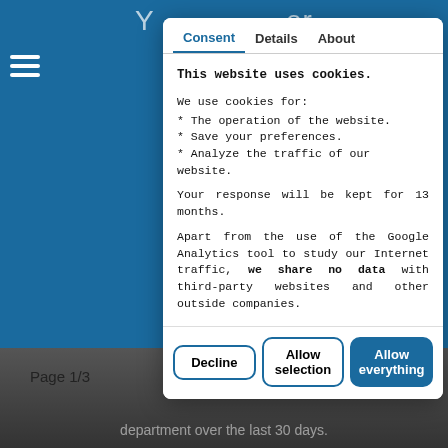[Figure (screenshot): Blue website background with hamburger menu icon, faded heading text at top, 'Page 1/3' label, and 'Next' button visible behind the cookie consent modal]
Consent | Details | About
This website uses cookies.
We use cookies for:
* The operation of the website.
* Save your preferences.
* Analyze the traffic of our website.
Your response will be kept for 13 months.
Apart from the use of the Google Analytics tool to study our Internet traffic, we share no data with third-party websites and other outside companies.
Decline
Allow selection
Allow everything